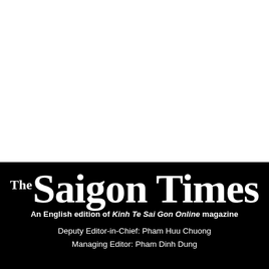[Figure (logo): White blank area at top of page]
The Saigon Times
An English edition of Kinh Te Sai Gon Online magazine
Deputy Editor-in-Chief: Pham Huu Chuong
Managing Editor: Pham Dinh Dung